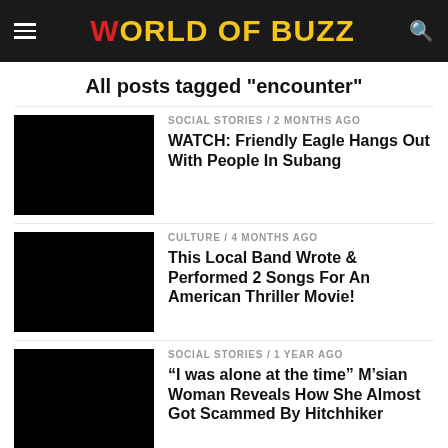WORLD OF BUZZ
All posts tagged "encounter"
[Figure (photo): Black thumbnail image for article 1]
SOCIAL STORIES / 2 months ago
WATCH: Friendly Eagle Hangs Out With People In Subang
[Figure (photo): Black thumbnail image for article 2]
CULTURE / 4 months ago
This Local Band Wrote & Performed 2 Songs For An American Thriller Movie!
[Figure (photo): Black thumbnail image for article 3]
SOCIAL STORIES / 1 year ago
“I was alone at the time” M’sian Woman Reveals How She Almost Got Scammed By Hitchhiker
[Figure (photo): Black thumbnail image for article 4]
SOCIAL STORIES / 1 year ago
Man Challenges Ghost To Show Itself, Gets A Scary Response In Return